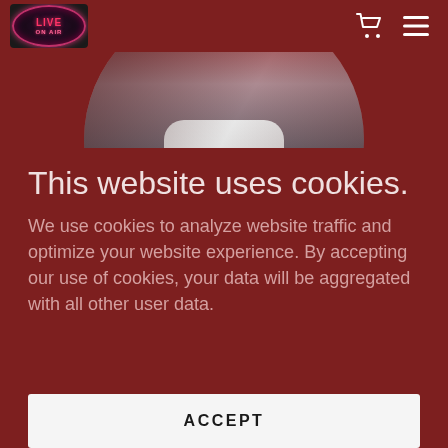[Figure (screenshot): Website screenshot showing a cookie consent overlay on a dark red background. Top-left has a 'Live On Air' circular logo. Top-right has shopping cart and hamburger menu icons. A circular profile photo of a person in a white shirt and dark jacket is partially visible at the top center.]
This website uses cookies.
We use cookies to analyze website traffic and optimize your website experience. By accepting our use of cookies, your data will be aggregated with all other user data.
ACCEPT